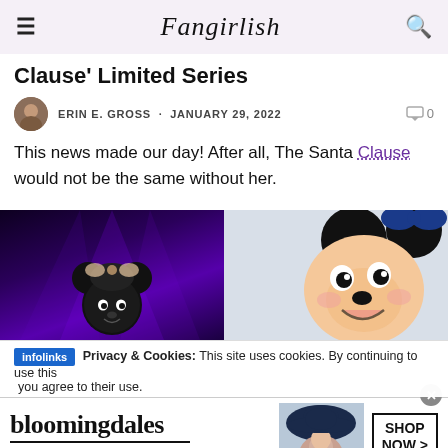Fangirlish
Clause' Limited Series
ERIN E. GROSS · JANUARY 29, 2022   0
This news made our day! After all, The Santa Clause would not be the same without her.
[Figure (photo): Two images side by side: left shows Minnie Mouse character under purple stage lighting, right shows a cartoon/illustration of Minnie Mouse with a blue bow on a light gray background.]
Privacy & Cookies: This site uses cookies. By continuing to use this you agree to their use.
[Figure (infographic): Bloomingdale's advertisement banner: bloomingdales logo, View Today's Top Deals! tagline, woman in hat image, and SHOP NOW > button.]